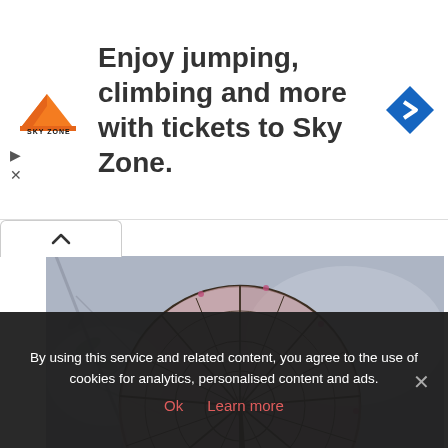[Figure (advertisement): Sky Zone advertisement banner. Logo of Sky Zone (orange ramp icon with SKY ZONE text), large bold text reading 'Enjoy jumping, climbing and more with tickets to Sky Zone.' and a blue diamond navigation icon on the right. Play and close controls on left side.]
[Figure (photo): Vintage hand-colored photograph of a young East Asian girl wearing a white bonnet and kimono-style dress, holding a parasol/umbrella with bamboo-style spokes. She holds a doll. Background is a muted bluish-grey with painted bamboo branches.]
By using this service and related content, you agree to the use of cookies for analytics, personalised content and ads.
Ok   Learn more